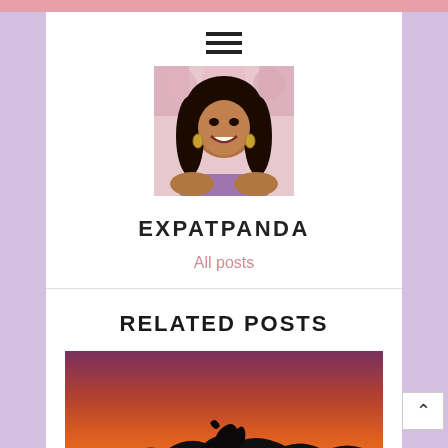[Figure (photo): Profile photo of a young woman with long dark curly hair, smiling, wearing earrings, in front of a floral background]
EXPATPANDA
All posts
RELATED POSTS
[Figure (photo): Silhouette of a person sitting on rocks against a vivid orange and deep red sunset sky]